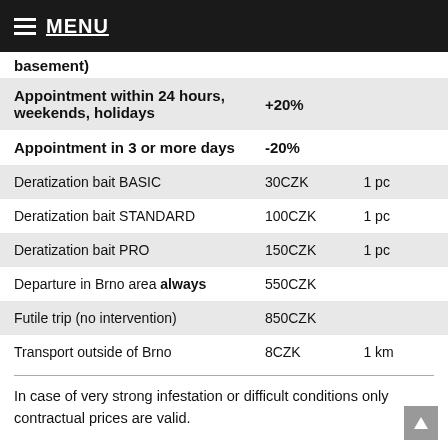MENU
basement)
|  |  |  |
| --- | --- | --- |
| Appointment within 24 hours, weekends, holidays | +20% |  |
| Appointment in 3 or more days | -20% |  |
| Deratization bait BASIC | 30CZK | 1 pc |
| Deratization bait STANDARD | 100CZK | 1 pc |
| Deratization bait PRO | 150CZK | 1 pc |
| Departure in Brno area always | 550CZK |  |
| Futile trip (no intervention) | 850CZK |  |
| Transport outside of Brno | 8CZK | 1 km |
In case of very strong infestation or difficult conditions only contractual prices are valid.